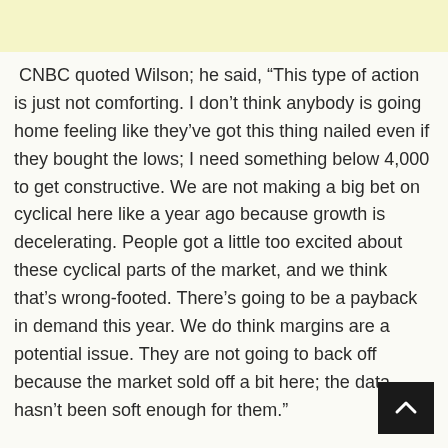CNBC quoted Wilson; he said, “This type of action is just not comforting. I don’t think anybody is going home feeling like they’ve got this thing nailed even if they bought the lows; I need something below 4,000 to get constructive. We are not making a big bet on cyclical here like a year ago because growth is decelerating. People got a little too excited about these cyclical parts of the market, and we think that’s wrong-footed. There’s going to be a payback in demand this year. We do think margins are a potential issue. They are not going to back off because the market sold off a bit here; the data hasn’t been soft enough for them.”
Wilson predicts the price will fall within three to fo[ur] weeks. He expects challenging times ahead for investors